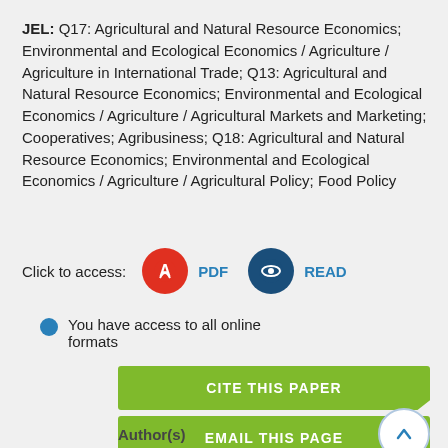JEL: Q17: Agricultural and Natural Resource Economics; Environmental and Ecological Economics / Agriculture / Agriculture in International Trade; Q13: Agricultural and Natural Resource Economics; Environmental and Ecological Economics / Agriculture / Agricultural Markets and Marketing; Cooperatives; Agribusiness; Q18: Agricultural and Natural Resource Economics; Environmental and Ecological Economics / Agriculture / Agricultural Policy; Food Policy
Click to access: PDF READ
You have access to all online formats
CITE THIS PAPER
EMAIL THIS PAGE
Author(s)